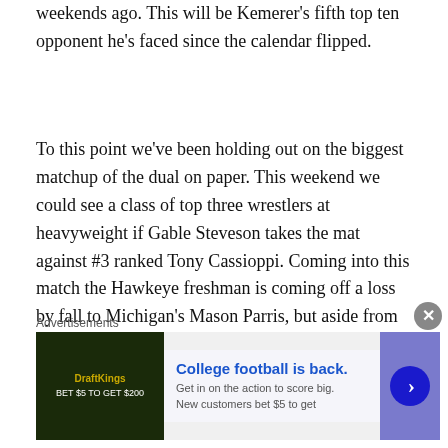weekends ago. This will be Kemerer's fifth top ten opponent he's faced since the calendar flipped.
To this point we've been holding out on the biggest matchup of the dual on paper. This weekend we could see a class of top three wrestlers at heavyweight if Gable Steveson takes the mat against #3 ranked Tony Cassioppi. Coming into this match the Hawkeye freshman is coming off a loss by fall to Michigan's Mason Parris, but aside from that match Cassioppi has looked every bit the part of an All-American contender including several
Advertisements
[Figure (other): Advertisement banner for sports betting: 'College football is back. Get in on the action to score big. New customers bet $5 to get $200' with a dark green background image on the left, text in the middle, and a blue arrow button on the right.]